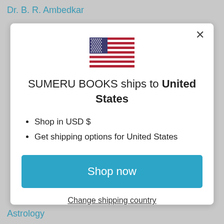Dr. B. R. Ambedkar
[Figure (illustration): US flag emoji/icon]
SUMERU BOOKS ships to United States
Shop in USD $
Get shipping options for United States
Shop now
Change shipping country
Astrology